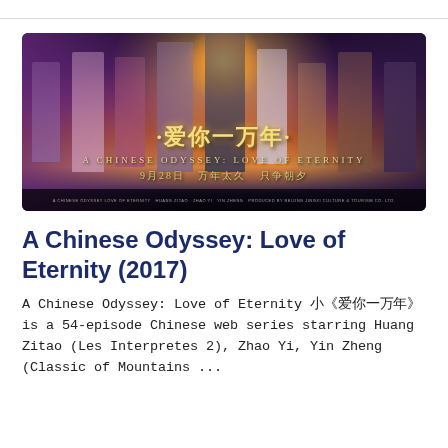[Figure (photo): Promotional poster for A Chinese Odyssey: Love of Eternity (2017), showing cast members in costume against a dramatic fantasy background with Chinese title text '爱你一万年' and date '9月28日 万年太久 只争朝夕']
A Chinese Odyssey: Love of Eternity (2017)
A Chinese Odyssey: Love of Eternity 爱你一万年 is a 54-episode Chinese web series starring Huang Zitao (Les Interpretes 2), Zhao Yi, Yin Zheng (Classic of Mountains ...